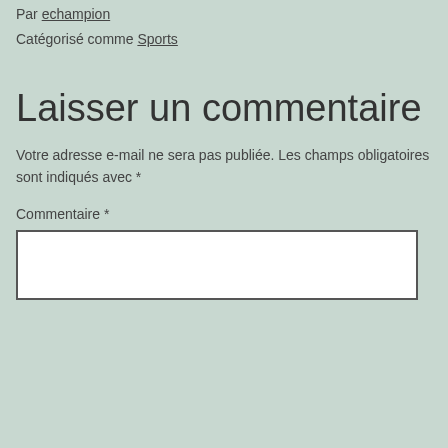Par echampion
Catégorisé comme Sports
Laisser un commentaire
Votre adresse e-mail ne sera pas publiée. Les champs obligatoires sont indiqués avec *
Commentaire *